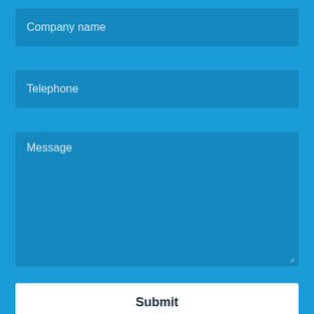Company name
Telephone
Message
Submit